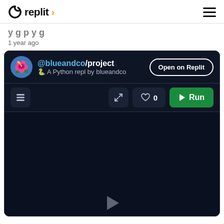replit
1 year ago
[Figure (screenshot): Replit embed card showing @blueandco/project — A Python repl by blueandco, with Open on Replit button, toolbar with list, expand, heart (0), and Run buttons, and a dark canvas area below.]